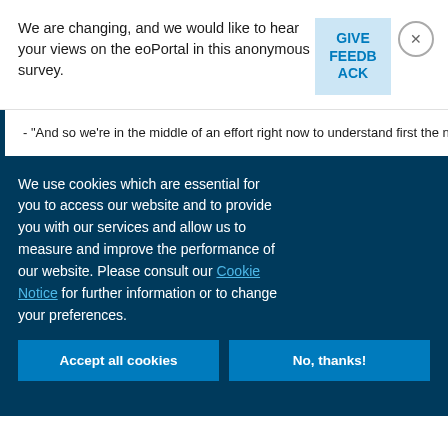We are changing, and we would like to hear your views on the eoPortal in this anonymous survey.
GIVE FEEDBACK
- "And so we're in the middle of an effort right now to understand first the nee at en ExecutiveBiz online event.
We use cookies which are essential for you to access our website and to provide you with our services and allow us to measure and improve the performance of our website. Please consult our Cookie Notice for further information or to change your preferences.
Accept all cookies
No, thanks!